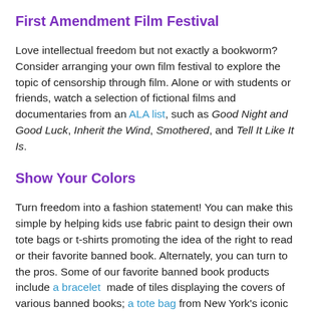First Amendment Film Festival
Love intellectual freedom but not exactly a bookworm? Consider arranging your own film festival to explore the topic of censorship through film. Alone or with students or friends, watch a selection of fictional films and documentaries from an ALA list, such as Good Night and Good Luck, Inherit the Wind, Smothered, and Tell It Like It Is.
Show Your Colors
Turn freedom into a fashion statement! You can make this simple by helping kids use fabric paint to design their own tote bags or t-shirts promoting the idea of the right to read or their favorite banned book. Alternately, you can turn to the pros. Some of our favorite banned book products include a bracelet made of tiles displaying the covers of various banned books; a tote bag from New York’s iconic Strand bookstore; and a large selection of bookish merchandise from Out of Print, including t-shirts, phone cases, stationery, and more.